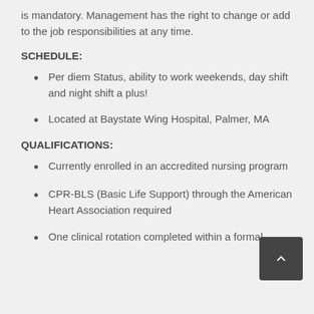is mandatory. Management has the right to change or add to the job responsibilities at any time.
SCHEDULE:
Per diem Status, ability to work weekends, day shift and night shift a plus!
Located at Baystate Wing Hospital, Palmer, MA
QUALIFICATIONS:
Currently enrolled in an accredited nursing program
CPR-BLS (Basic Life Support) through the American Heart Association required
One clinical rotation completed within a formal